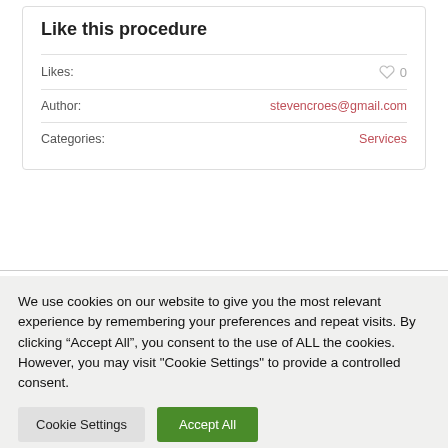Like this procedure
| Likes: | ♡ 0 |
| Author: | stevencroes@gmail.com |
| Categories: | Services |
We use cookies on our website to give you the most relevant experience by remembering your preferences and repeat visits. By clicking “Accept All”, you consent to the use of ALL the cookies. However, you may visit "Cookie Settings" to provide a controlled consent.
Cookie Settings   Accept All